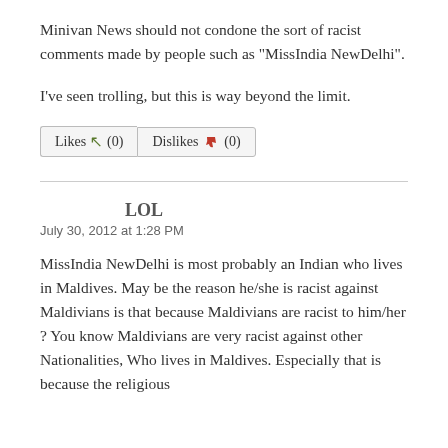Minivan News should not condone the sort of racist comments made by people such as "MissIndia NewDelhi".
I've seen trolling, but this is way beyond the limit.
[Figure (other): Likes (0) and Dislikes (0) buttons with thumbs up and thumbs down icons]
LOL
July 30, 2012 at 1:28 PM
MissIndia NewDelhi is most probably an Indian who lives in Maldives. May be the reason he/she is racist against Maldivians is that because Maldivians are racist to him/her ? You know Maldivians are very racist against other Nationalities, Who lives in Maldives. Especially that is because the religious...